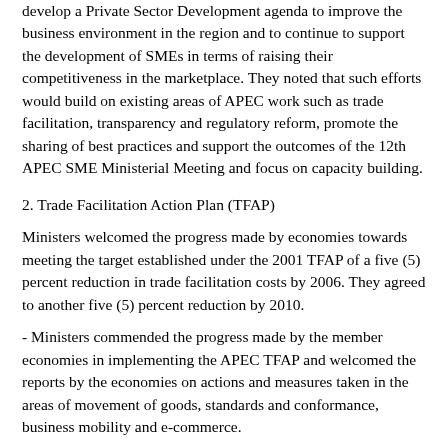develop a Private Sector Development agenda to improve the business environment in the region and to continue to support the development of SMEs in terms of raising their competitiveness in the marketplace. They noted that such efforts would build on existing areas of APEC work such as trade facilitation, transparency and regulatory reform, promote the sharing of best practices and support the outcomes of the 12th APEC SME Ministerial Meeting and focus on capacity building.
2. Trade Facilitation Action Plan (TFAP)
Ministers welcomed the progress made by economies towards meeting the target established under the 2001 TFAP of a five (5) percent reduction in trade facilitation costs by 2006. They agreed to another five (5) percent reduction by 2010.
- Ministers commended the progress made by the member economies in implementing the APEC TFAP and welcomed the reports by the economies on actions and measures taken in the areas of movement of goods, standards and conformance, business mobility and e-commerce.
- Ministers welcomed the preparatory work underway for the final review in 2006 and endorsed the TFAP Roadmap to 2006 that proposed a work program to ensure that APEC accomplished the goal of the aforementioned five (5) percent reduction in transaction